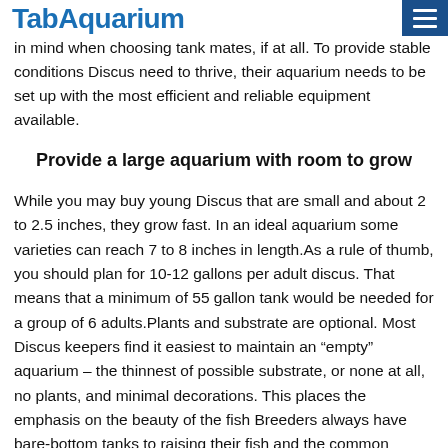TabAquarium
in mind when choosing tank mates, if at all. To provide stable conditions Discus need to thrive, their aquarium needs to be set up with the most efficient and reliable equipment available.
Provide a large aquarium with room to grow
While you may buy young Discus that are small and about 2 to 2.5 inches, they grow fast. In an ideal aquarium some varieties can reach 7 to 8 inches in length.As a rule of thumb, you should plan for 10-12 gallons per adult discus. That means that a minimum of 55 gallon tank would be needed for a group of 6 adults.Plants and substrate are optional. Most Discus keepers find it easiest to maintain an “empty” aquarium – the thinnest of possible substrate, or none at all, no plants, and minimal decorations. This places the emphasis on the beauty of the fish Breeders always have bare-bottom tanks to raising their fish and the common understanding is that